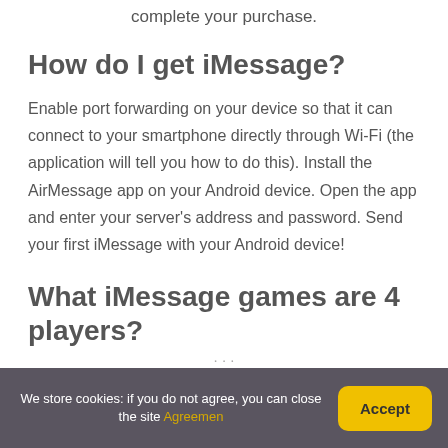complete your purchase.
How do I get iMessage?
Enable port forwarding on your device so that it can connect to your smartphone directly through Wi-Fi (the application will tell you how to do this). Install the AirMessage app on your Android device. Open the app and enter your server's address and password. Send your first iMessage with your Android device!
What iMessage games are 4 players?
We store cookies: if you do not agree, you can close the site Agreemen
Accept